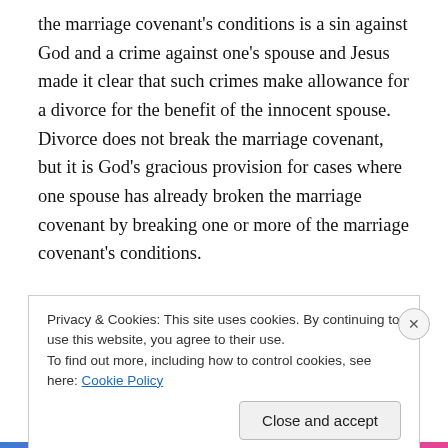the marriage covenant's conditions is a sin against God and a crime against one's spouse and Jesus made it clear that such crimes make allowance for a divorce for the benefit of the innocent spouse.  Divorce does not break the marriage covenant, but it is God's gracious provision for cases where one spouse has already broken the marriage covenant by breaking one or more of the marriage covenant's conditions.

The first inclusion of marriage among the seven sacraments of the New Law by the Church's magisterium
Privacy & Cookies: This site uses cookies. By continuing to use this website, you agree to their use.
To find out more, including how to control cookies, see here: Cookie Policy